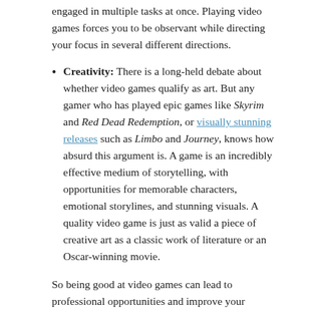engaged in multiple tasks at once. Playing video games forces you to be observant while directing your focus in several different directions.
Creativity: There is a long-held debate about whether video games qualify as art. But any gamer who has played epic games like Skyrim and Red Dead Redemption, or visually stunning releases such as Limbo and Journey, knows how absurd this argument is. A game is an incredibly effective medium of storytelling, with opportunities for memorable characters, emotional storylines, and stunning visuals. A quality video game is just as valid a piece of creative art as a classic work of literature or an Oscar-winning movie.
So being good at video games can lead to professional opportunities and improve your cognitive abilities, but it is also beneficial in and of itself. Striving for greatness gives you a sense of